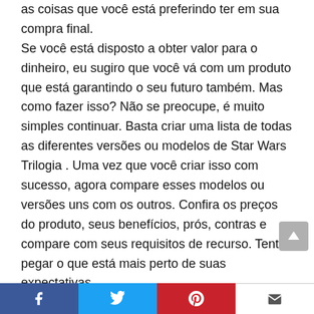as coisas que você está preferindo ter em sua compra final. Se você está disposto a obter valor para o dinheiro, eu sugiro que você vá com um produto que está garantindo o seu futuro também. Mas como fazer isso? Não se preocupe, é muito simples continuar. Basta criar uma lista de todas as diferentes versões ou modelos de Star Wars Trilogia . Uma vez que você criar isso com sucesso, agora compare esses modelos ou versões uns com os outros. Confira os preços do produto, seus benefícios, prós, contras e compare com seus requisitos de recurso. Tente pegar o que está mais perto de suas expectativas.
Qual marca você está
Facebook Twitter Pinterest Email